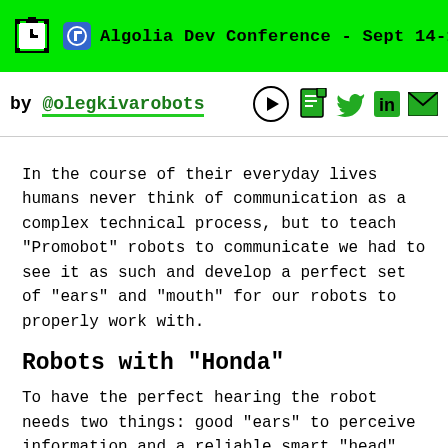Algolia Dev Conference - Sept 14-15
by @olegkivarobots
In the course of their everyday lives humans never think of communication as a complex technical process, but to teach “Promobot” robots to communicate we had to see it as such and develop a perfect set of “ears” and “mouth” for our robots to properly work with.
Robots with “Honda”
To have the perfect hearing the robot needs two things: good “ears” to perceive information and a reliable smart “head” that understands the information